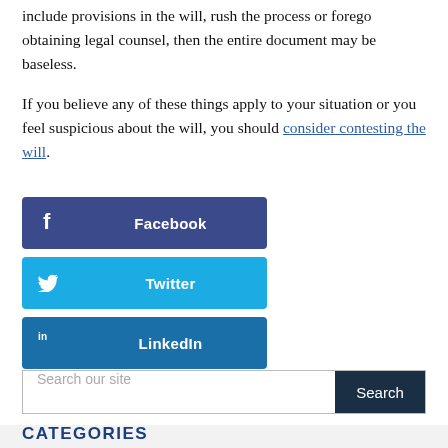include provisions in the will, rush the process or forego obtaining legal counsel, then the entire document may be baseless.
If you believe any of these things apply to your situation or you feel suspicious about the will, you should consider contesting the will.
[Figure (infographic): Social sharing buttons for Facebook, Twitter, and LinkedIn]
Search our site
CATEGORIES